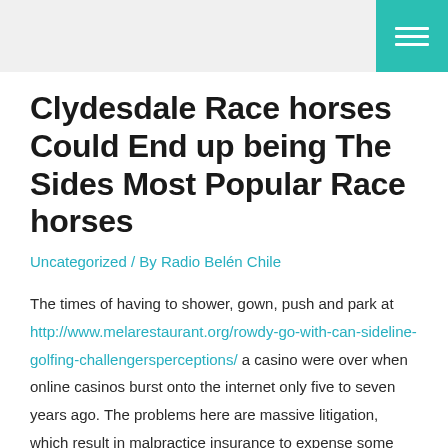Clydesdale Race horses Could End up being The Sides Most Popular Race horses
Uncategorized / By Radio Belén Chile
The times of having to shower, gown, push and park at http://www.melarestaurant.org/rowdy-go-with-can-sideline-golfing-challengersperceptions/ a casino were over when online casinos burst onto the internet only five to seven years ago. The problems here are massive litigation, which result in malpractice insurance to expense some medical doctors $80,per year 000, and worse far, renders medical professionals order millions of avoidable (and invasion and painful) tests and operations to hold from being sued; that insurance cover providers can be never helped to remain